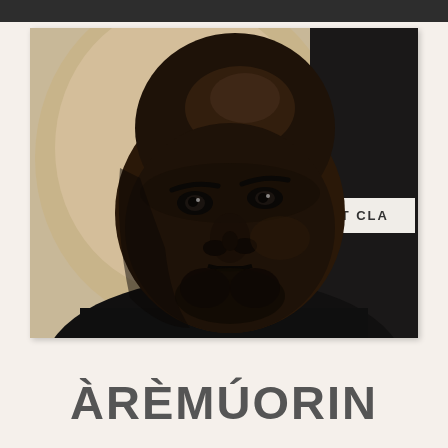[Figure (photo): Close-up portrait photo of a bald Black man with a beard, wearing a dark shirt, in front of a sign partially reading 'ST CLA', with a beige/tan background shape visible. Dark banner at the very top of the page.]
ÀRÈMÚORIN